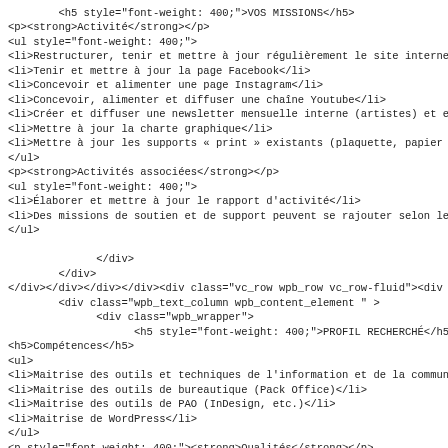HTML/PHP source code snippet showing VOS MISSIONS and PROFIL RECHERCHÉ sections with French content about website management, social media, newsletter, graphic charter, activity report missions, and required competences/qualities.